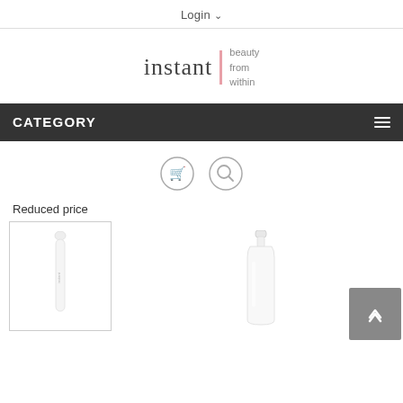Login
[Figure (logo): Instant beauty from within logo — 'instant' in serif lowercase with a pink vertical bar and 'beauty from within' tagline]
CATEGORY
[Figure (screenshot): Two circular icon buttons: a shopping cart icon and a search/magnifying glass icon]
Reduced price
[Figure (photo): White slim electronic beauty device]
[Figure (photo): White bottle/dispenser product, partially visible]